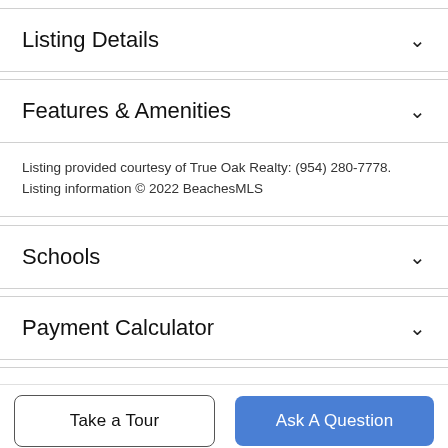Listing Details
Features & Amenities
Listing provided courtesy of True Oak Realty: (954) 280-7778. Listing information © 2022 BeachesMLS
Schools
Payment Calculator
Contact Agent
Take a Tour
Ask A Question